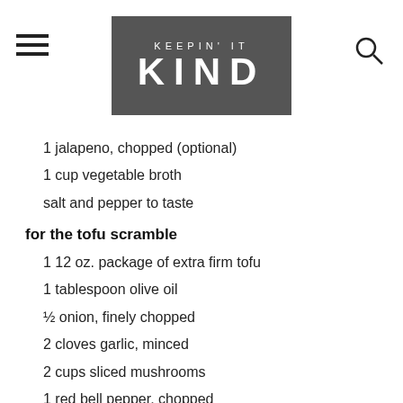KEEPIN' IT KIND
1 jalapeno, chopped (optional)
1 cup vegetable broth
salt and pepper to taste
for the tofu scramble
1 12 oz. package of extra firm tofu
1 tablespoon olive oil
½ onion, finely chopped
2 cloves garlic, minced
2 cups sliced mushrooms
1 red bell pepper, chopped
2 teaspoon dried thyme
1 teaspoon ground cumin
½ teaspoon smoked paprika
½ teaspoon turmeric